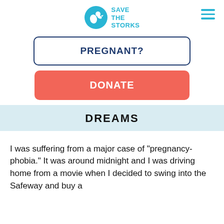[Figure (logo): Save the Storks logo: circular teal icon with a stork bird, next to bold teal text reading SAVE THE STORKS]
PREGNANT?
DONATE
DREAMS
I was suffering from a major case of “pregnancy-phobia.” It was around midnight and I was driving home from a movie when I decided to swing into the Safeway and buy a